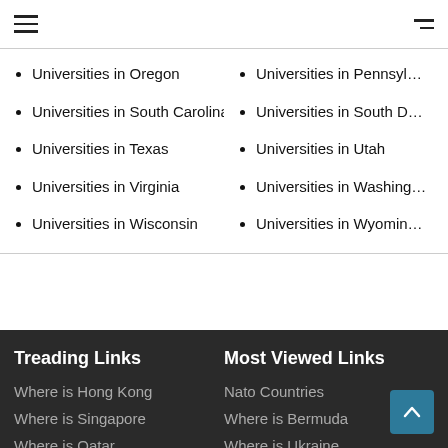Universities in Oregon
Universities in Pennsylvania
Universities in South Carolina
Universities in South Dakota
Universities in Texas
Universities in Utah
Universities in Virginia
Universities in Washington
Universities in Wisconsin
Universities in Wyoming
Treading Links
Where is Hong Kong
Where is Singapore
Where is Qatar
Where is Mauritius
Where is Ibiza
Most Viewed Links
Nato Countries
Where is Bermuda
Where is Ukraine
Where is Russia
Where is Toronto